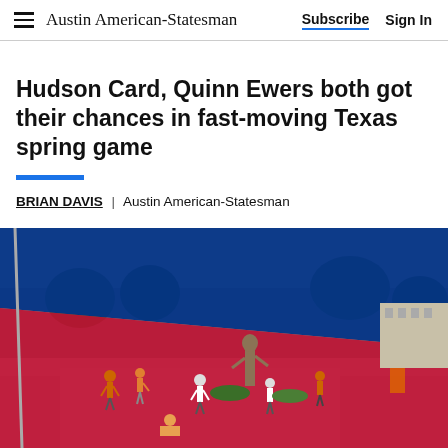Austin American-Statesman | Subscribe | Sign In
Hudson Card, Quinn Ewers both got their chances in fast-moving Texas spring game
BRIAN DAVIS | Austin American-Statesman
[Figure (photo): Fans and people walking outside a stadium area with a large Texas state flag in the foreground (blue and red sections visible), and a bronze statue in the background. People wearing orange are visible on a plaza/walkway.]